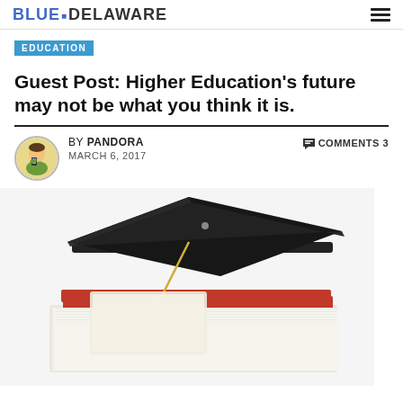BLUE DELAWARE
EDUCATION
Guest Post: Higher Education's future may not be what you think it is.
BY PANDORA   COMMENTS 3
MARCH 6, 2017
[Figure (photo): A black graduation mortarboard cap with gold and green tassel resting on a stack of books with a red cover, with what appears to be a diploma partially visible, on a white background.]